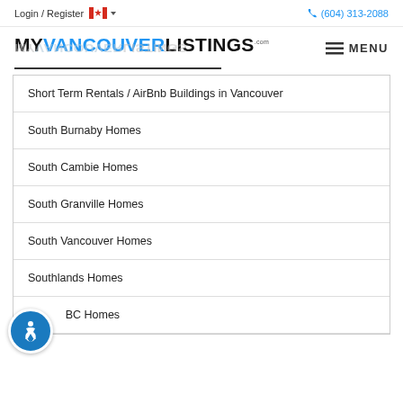Login / Register  (604) 313-2088
[Figure (logo): MyVancouverListings.com logo with blue VANCOUVER text and reflection below]
Short Term Rentals / AirBnb Buildings in Vancouver
South Burnaby Homes
South Cambie Homes
South Granville Homes
South Vancouver Homes
Southlands Homes
BC Homes